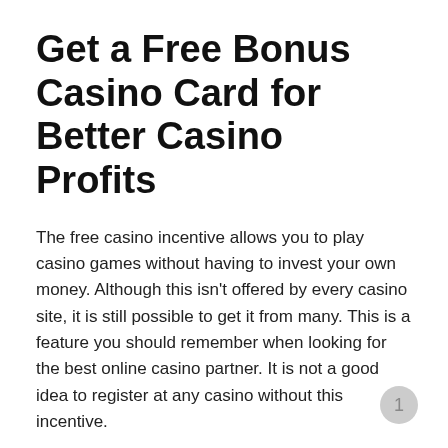Get a Free Bonus Casino Card for Better Casino Profits
The free casino incentive allows you to play casino games without having to invest your own money. Although this isn't offered by every casino site, it is still possible to get it from many. This is a feature you should remember when looking for the best online casino partner. It is not a good idea to register at any casino without this incentive.
No bonus for deposits
The no deposit bonus casino bonus has a number of features that